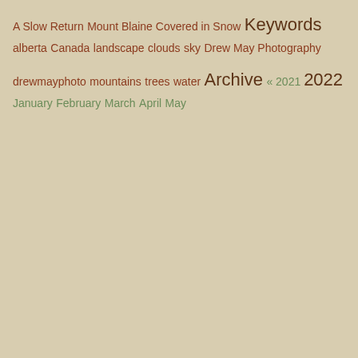A Slow Return
Mount Blaine Covered in Snow
Keywords
alberta
Canada
landscape
clouds
sky
Drew May Photography
drewmayphoto
mountains
trees
water
Archive
« 2021 2022
January
February
March
April
May